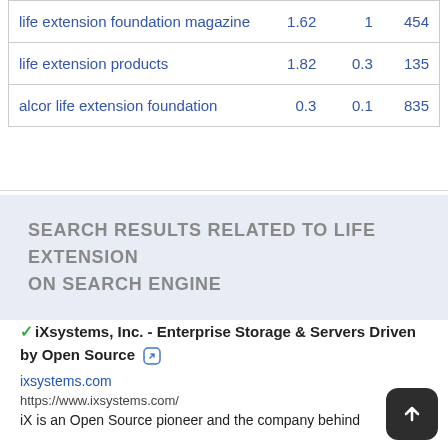| life extension foundation magazine | 1.62 | 1 | 454 |
| life extension products | 1.82 | 0.3 | 135 |
| alcor life extension foundation | 0.3 | 0.1 | 835 |
SEARCH RESULTS RELATED TO LIFE EXTENSION ON SEARCH ENGINE
✓iXsystems, Inc. - Enterprise Storage & Servers Driven by Open Source 🔗
ixsystems.com
https://www.ixsystems.com/
iX is an Open Source pioneer and the company behind